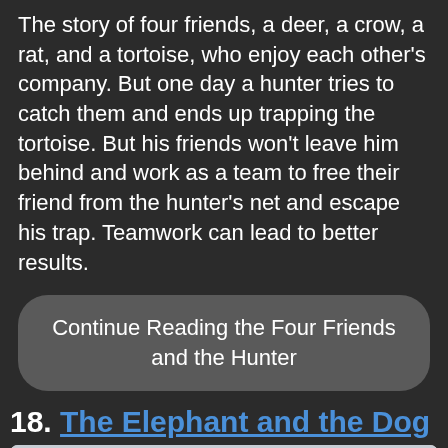The story of four friends, a deer, a crow, a rat, and a tortoise, who enjoy each other's company. But one day a hunter tries to catch them and ends up trapping the tortoise. But his friends won't leave him behind and work as a team to free their friend from the hunter's net and escape his trap. Teamwork can lead to better results.
Continue Reading the Four Friends and the Hunter
18. The Elephant and the Dog
[Figure (photo): A brown elephant photographed against a light blue/grey sky background, partially cropped at the bottom of the page.]